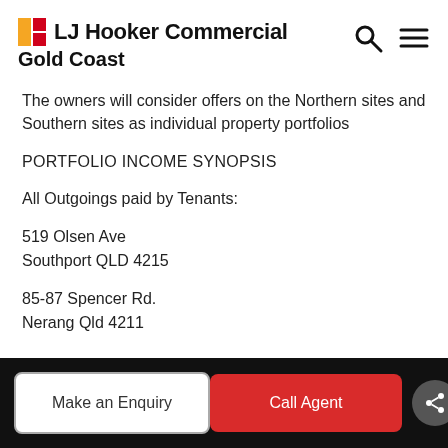LJ Hooker Commercial Gold Coast
The owners will consider offers on the Northern sites and Southern sites as individual property portfolios
PORTFOLIO INCOME SYNOPSIS
All Outgoings paid by Tenants:
519 Olsen Ave
Southport QLD 4215
85-87 Spencer Rd.
Nerang Qld 4211
Make an Enquiry | Call Agent